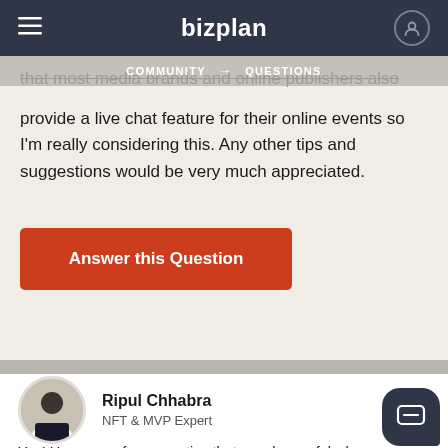bizplan
COMMUNITY → QUESTIONS
that most media brands and online publishers also provide a live chat feature for their online events so I'm really considering this. Any other tips and suggestions would be very much appreciated.
Answer this Question
Ripul Chhabra
NFT & MVP Expert
Yes! Here are a few more tips that may be useful when planning and hosting a virtual conference or online